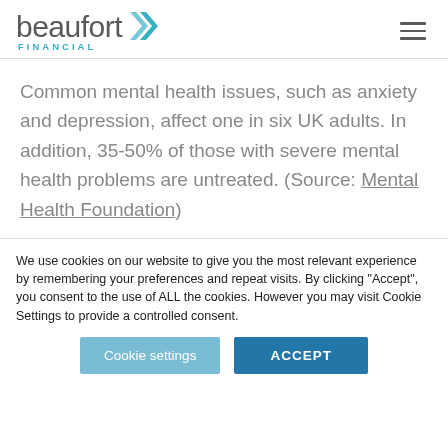[Figure (logo): Beaufort Financial logo with teal chevron arrows and teal 'FINANCIAL' text below]
Common mental health issues, such as anxiety and depression, affect one in six UK adults. In addition, 35-50% of those with severe mental health problems are untreated. (Source: Mental Health Foundation)
We use cookies on our website to give you the most relevant experience by remembering your preferences and repeat visits. By clicking “Accept”, you consent to the use of ALL the cookies. However you may visit Cookie Settings to provide a controlled consent.